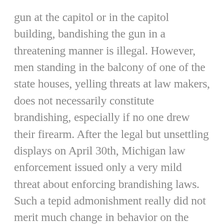gun at the capitol or in the capitol building, bandishing the gun in a threatening manner is illegal. However, men standing in the balcony of one of the state houses, yelling threats at law makers, does not necessarily constitute brandishing, especially if no one drew their firearm. After the legal but unsettling displays on April 30th, Michigan law enforcement issued only a very mild threat about enforcing brandishing laws. Such a tepid admonishment really did not merit much change in behavior on the protesters' part. Nevertheless, on May 14, while some people again arrived with long guns, it appears many were worried enough to leave their guns at home. In addition, far fewer people bothered to attend "Judgment Day" than did the previous protests.